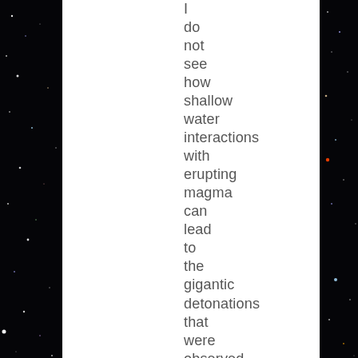[Figure (photo): A starfield image on the left and right edges of the page, with black background and scattered colorful stars/galaxies. The center-left area is white (blank).]
I do not see how shallow water interactions with erupting magma can lead to the gigantic detonations that were observed, since there's constraints